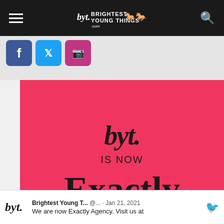BYT Brightest Young Things
[Figure (screenshot): Social media icons: Facebook, Twitter, Instagram buttons]
[Figure (screenshot): Red advertisement banner. BYT script logo at top, 'IS NOW' text, 'Exactly' in large serif font, 'VISIT US AT WWW.EXACTLYAGENCY.COM' at bottom. Cyan CLOSE button top right.]
Brightest Young T... @... · Jan 21, 2021
We are now Exactly Agency. Visit us at